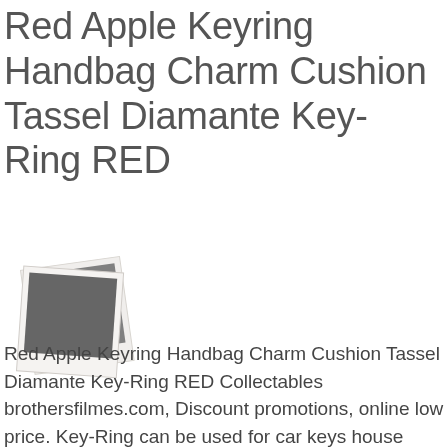Red Apple Keyring Handbag Charm Cushion Tassel Diamante Key-Ring RED
[Figure (photo): Two overlapping polaroid-style photo thumbnails with a dark grey/black square image placeholder, shown at an angle]
Red Apple Keyring Handbag Charm Cushion Tassel Diamante Key-Ring RED Collectables brothersfilmes.com, Discount promotions, online low price. Key-Ring can be used for car keys house handbag Excellent Bling Must Have